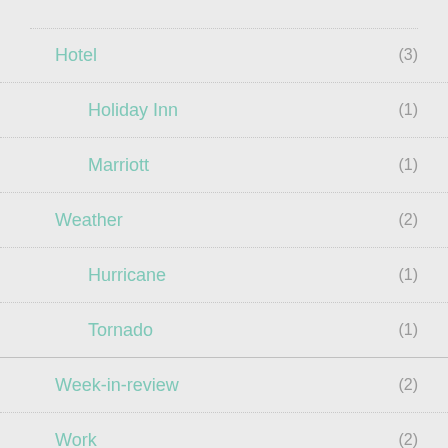Hotel (3)
Holiday Inn (1)
Marriott (1)
Weather (2)
Hurricane (1)
Tornado (1)
Week-in-review (2)
Work (2)